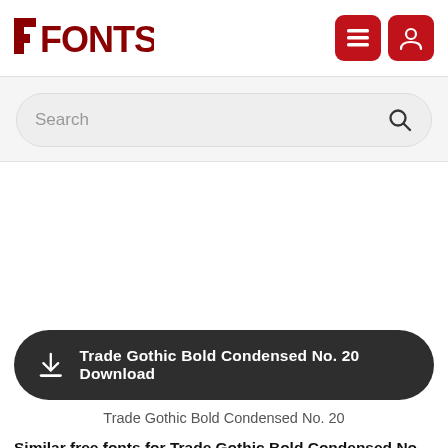[Figure (logo): FFONTS logo in dark red bold text with a small prefix symbol]
[Figure (screenshot): Two red square icon buttons - hamburger menu and user profile icons]
Search
Trade Gothic Bold Condensed No. 20 Download
Trade Gothic Bold Condensed No. 20
Similar free fonts for Trade Gothic Bold Condensed No. 20 font